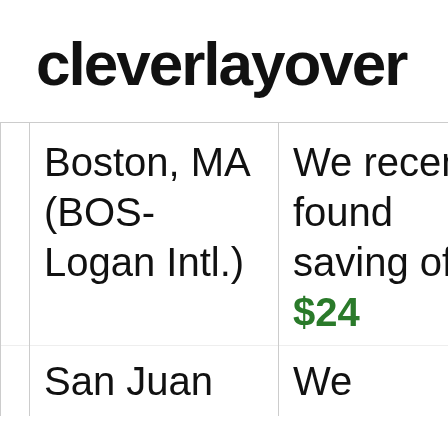cleverlayover
|  | Location | Description |
| --- | --- | --- |
|  | Boston, MA (BOS-Logan Intl.) | We recently found savings of $24... |
|  | San Juan | We... |